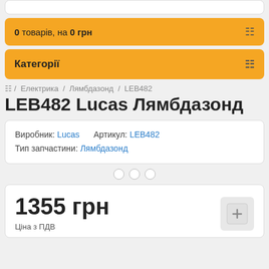0 товарів, на 0 грн
Категорії
/ Електрика / Лямбдазонд / LEB482
LEB482 Lucas Лямбдазонд
| Виробник: Lucas | Артикул: LEB482 |
| Тип запчастини: Лямбдазонд |  |
[Figure (other): Three empty circle dots (image carousel indicators)]
1355 грн
Ціна з ПДВ